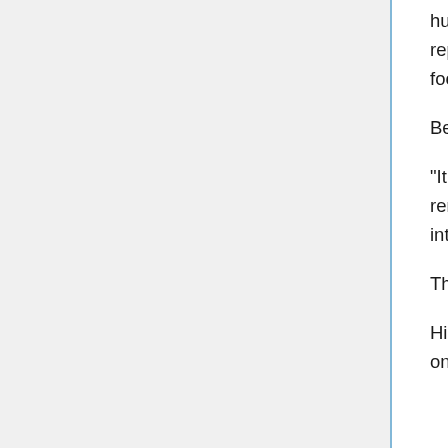hungry!" Hence, Orihime's classmate, Haruga Haruomi, had nodded and replied "Dinner together? Let's sneak into a place where we can prepare food." Then the two of them left.
Before leaving, all he said to Orihime was "See you at school."
"It felt like he was trying to avoid me... Am I thinking too much? I don't remember doing anything to make myself disliked. Rather, we haven't interacted much at all."
This classmate was quite "an eccentric" at first glance.
His aloof expression and tone of voice were especially memorable. Who on earth was he? Orihime's curiosity was piqued.